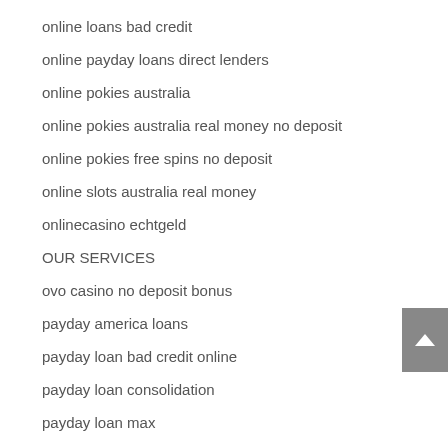online loans bad credit
online payday loans direct lenders
online pokies australia
online pokies australia real money no deposit
online pokies free spins no deposit
online slots australia real money
onlinecasino echtgeld
OUR SERVICES
ovo casino no deposit bonus
payday america loans
payday loan bad credit online
payday loan consolidation
payday loan max
payday loans baltimore city